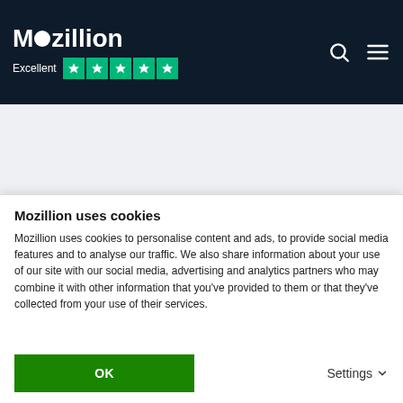Mozillion — Excellent ★★★★★
Video
The iPhone X and iPhone 8 Plus
Mozillion uses cookies
Mozillion uses cookies to personalise content and ads, to provide social media features and to analyse our traffic. We also share information about your use of our site with our social media, advertising and analytics partners who may combine it with other information that you've provided to them or that they've collected from your use of their services.
OK
Settings